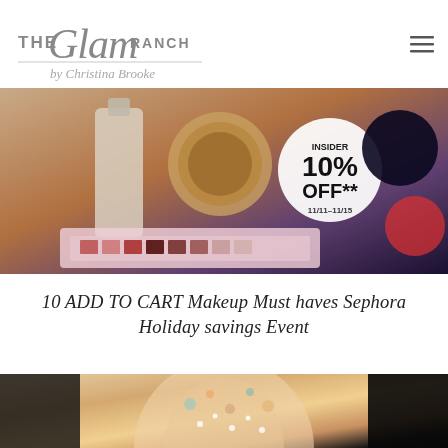THE Glam RANCH by Christina Brooke
[Figure (photo): Sephora Insider 10% OFF 11/11-11/15 promotional image showing makeup products including foundation bottle, bronzer compact, and eyeshadow palette with sale circular badge]
10 ADD TO CART Makeup Must haves Sephora Holiday savings Event
[Figure (photo): Fashion model wearing colorful embellished floral jacket on runway with dark background]